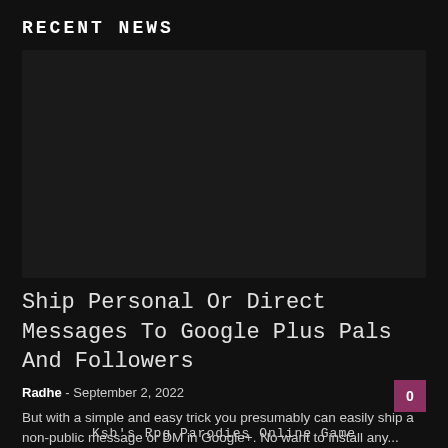RECENT NEWS
[Figure (photo): Dark placeholder image area for article thumbnail]
Ship Personal Or Direct Messages To Google Plus Pals And Followers
Radhe - September 2, 2022   0
But with a simple and easy trick you presumably can easily ship a non-public message or DM in Google+. No want to install any...
Ksb's Rpg Parodies Online Game